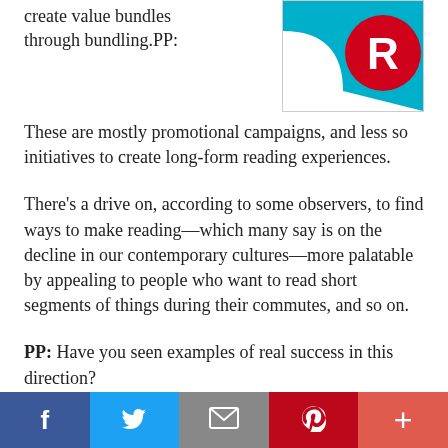create value bundles through bundling.PP:
[Figure (logo): Rakuten logo: white curved shape on teal background with red circle containing white letter R]
These are mostly promotional campaigns, and less so initiatives to create long-form reading experiences.
There’s a drive on, according to some observers, to find ways to make reading—which many say is on the decline in our contemporary cultures—more palatable by appealing to people who want to read short segments of things during their commutes, and so on.
PP: Have you seen examples of real success in this direction?
f    ✉  p  +